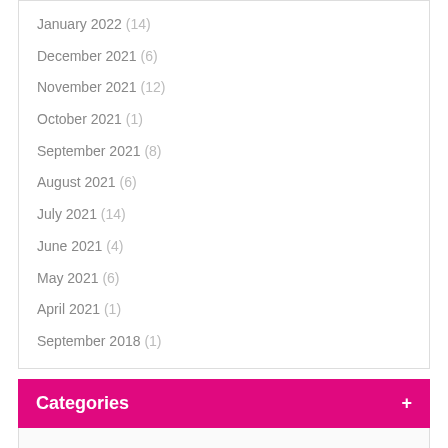January 2022 (14)
December 2021 (6)
November 2021 (12)
October 2021 (1)
September 2021 (8)
August 2021 (6)
July 2021 (14)
June 2021 (4)
May 2021 (6)
April 2021 (1)
September 2018 (1)
Categories
1
Crypto News